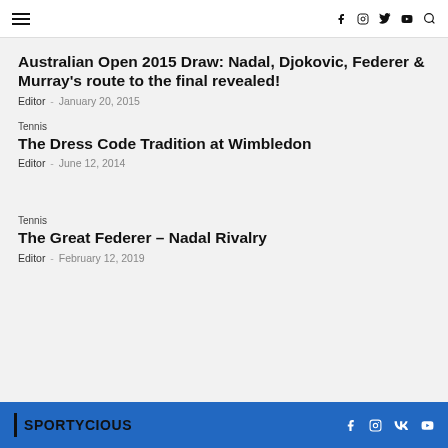Navigation bar with hamburger menu and social icons: f, instagram, twitter, youtube, search
Australian Open 2015 Draw: Nadal, Djokovic, Federer & Murray's route to the final revealed!
Editor - January 20, 2015
Tennis
The Dress Code Tradition at Wimbledon
Editor - June 12, 2014
Tennis
The Great Federer – Nadal Rivalry
Editor - February 12, 2019
SPORTYCIOUS — f, instagram, VK, youtube